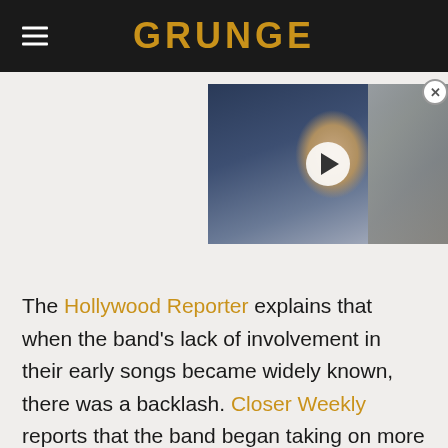GRUNGE
[Figure (photo): Video thumbnail showing a bald man in a suit with a play button overlay, positioned in the upper right area of the page]
The Hollywood Reporter explains that when the band's lack of involvement in their early songs became widely known, there was a backlash. Closer Weekly reports that the band began taking on more and more playing